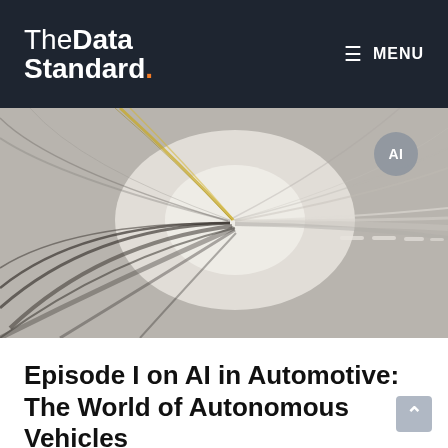TheData Standard. MENU
[Figure (photo): Abstract motion blur photo of a tunnel or road from inside a fast-moving vehicle, with swirling streaks of grey, white, and yellow. An 'AI' badge label appears in the upper right of the image.]
Episode I on AI in Automotive: The World of Autonomous Vehicles
What is an Autonomous Vehicle? Autonomous vehicles (AV) are otherwise known as self-driving